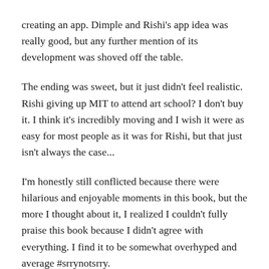creating an app. Dimple and Rishi's app idea was really good, but any further mention of its development was shoved off the table.
The ending was sweet, but it just didn't feel realistic. Rishi giving up MIT to attend art school? I don't buy it. I think it's incredibly moving and I wish it were as easy for most people as it was for Rishi, but that just isn't always the case...
I'm honestly still conflicted because there were hilarious and enjoyable moments in this book, but the more I thought about it, I realized I couldn't fully praise this book because I didn't agree with everything. I find it to be somewhat overhyped and average #srrynotsrry.